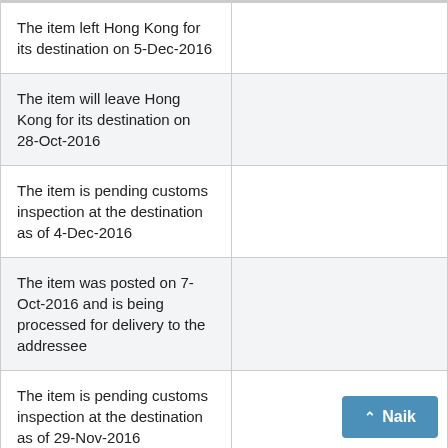| The item left Hong Kong for its destination on 5-Dec-2016 |  |
| The item will leave Hong Kong for its destination on 28-Oct-2016 |  |
| The item is pending customs inspection at the destination as of 4-Dec-2016 |  |
| The item was posted on 7-Oct-2016 and is being processed for delivery to the addressee |  |
| The item is pending customs inspection at the destination as of 29-Nov-2016 |  |
| The item will leave... |  |